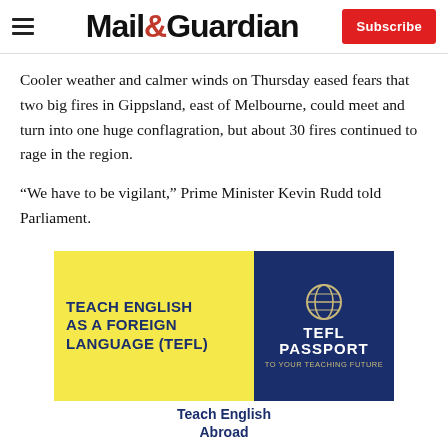Mail&Guardian — Subscribe
Cooler weather and calmer winds on Thursday eased fears that two big fires in Gippsland, east of Melbourne, could meet and turn into one huge conflagration, but about 30 fires continued to rage in the region.
“We have to be vigilant,” Prime Minister Kevin Rudd told Parliament.
[Figure (illustration): Advertisement for TEFL Passport — Teach English as a Foreign Language (TEFL). Left panel: yellow background with bold navy text reading 'TEACH ENGLISH AS A FOREIGN LANGUAGE (TEFL)'. Right panel: navy background with globe icon and text 'TEFL PASSPORT TO YOUR TEACHING FUTURE'. Bottom: text 'Teach English Abroad'.]